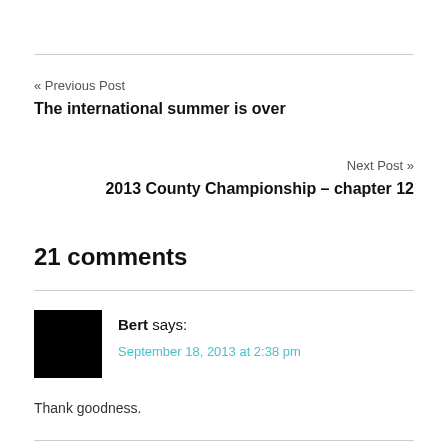« Previous Post
The international summer is over
Next Post »
2013 County Championship – chapter 12
21 comments
Bert says:
September 18, 2013 at 2:38 pm
Thank goodness.